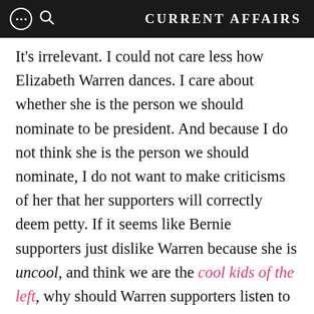CURRENT AFFAIRS
It's irrelevant. I could not care less how Elizabeth Warren dances. I care about whether she is the person we should nominate to be president. And because I do not think she is the person we should nominate, I do not want to make criticisms of her that her supporters will correctly deem petty. If it seems like Bernie supporters just dislike Warren because she is uncool, and think we are the cool kids of the left, why should Warren supporters listen to a thing we say? In fact, they should probably like her more: She is a proud dork, standing up for the uncool everywhere,